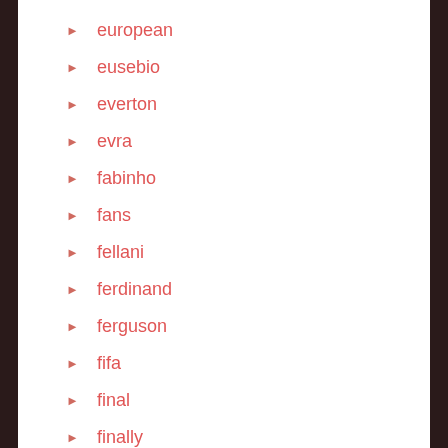european
eusebio
everton
evra
fabinho
fans
fellani
ferdinand
ferguson
fifa
final
finally
first
five
football